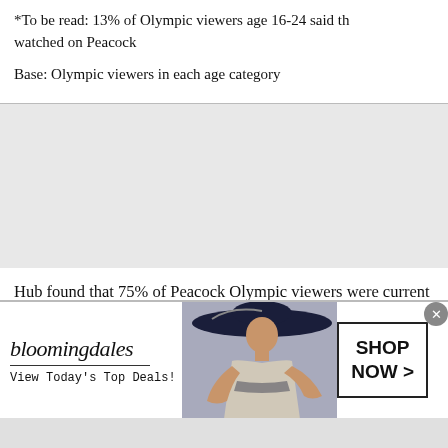*To be read: 13% of Olympic viewers age 16-24 said they watched on Peacock

Base: Olympic viewers in each age category
Hub found that 75% of Peacock Olympic viewers were current subs; 25% had never used Peacock or were lapsed subscribers. Although not definitive due to a small sample size, of these Peacock Olympic viewers who were not current subscribers prior to the Olympics, most say they will continue to watch Peacock after the Olympics.
“NBCUniversal has a long history of using the
[Figure (other): Bloomingdale's advertisement banner with logo, tagline 'View Today's Top Deals!', image of woman in hat, and 'SHOP NOW >' button]